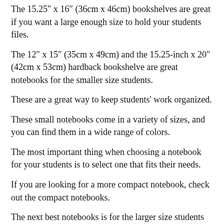The 15.25″ x 16″ (36cm x 46cm) bookshelves are great if you want a large enough size to hold your students files.
The 12″ x 15″ (35cm x 49cm) and the 15.25-inch x 20″ (42cm x 53cm) hardback bookshelve are great notebooks for the smaller size students.
These are a great way to keep students' work organized.
These small notebooks come in a variety of sizes, and you can find them in a wide range of colors.
The most important thing when choosing a notebook for your students is to select one that fits their needs.
If you are looking for a more compact notebook, check out the compact notebooks.
The next best notebooks is for the larger size students who need a big, bright and bright display.